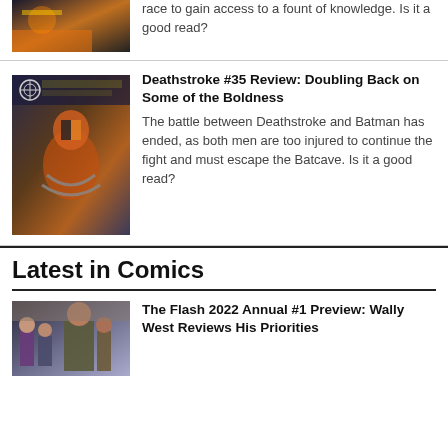[Figure (photo): Comic book cover image (partially visible at top) showing a dark action scene with fire]
race to gain access to a fount of knowledge. Is it a good read?
[Figure (photo): Deathstroke #35 comic book cover showing Deathstroke chained and Batman in background]
Deathstroke #35 Review: Doubling Back on Some of the Boldness
The battle between Deathstroke and Batman has ended, as both men are too injured to continue the fight and must escape the Batcave. Is it a good read?
Latest in Comics
[Figure (photo): The Flash 2022 Annual #1 preview image showing group of characters]
The Flash 2022 Annual #1 Preview: Wally West Reviews His Priorities